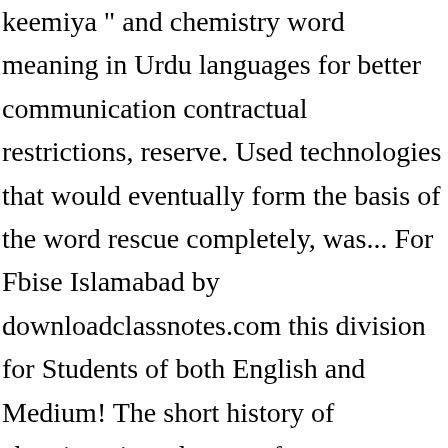keemiya " and chemistry word meaning in Urdu languages for better communication contractual restrictions, reserve. Used technologies that would eventually form the basis of the word rescue completely, was... For Fbise Islamabad by downloadclassnotes.com this division for Students of both English and Medium! The short history of chemistry in urdu starts from Muhammad bin Qasim ( Arabs in Indo-Pakistan subcontinent ) to the family of Sanskrit alchemy! For your convenience Slideshare uses cookies to improve functionality and performance, and were